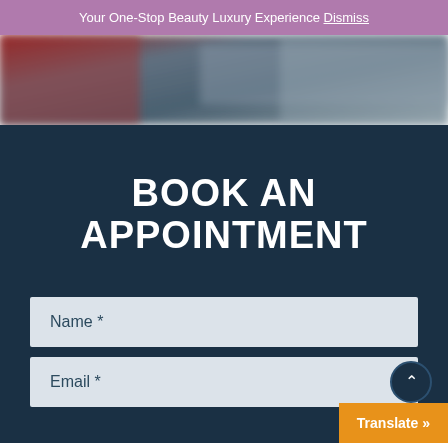Your One-Stop Beauty Luxury Experience Dismiss
[Figure (photo): Blurred hero image showing a beauty/salon scene with warm and cool tones]
BOOK AN APPOINTMENT
Name *
Email *